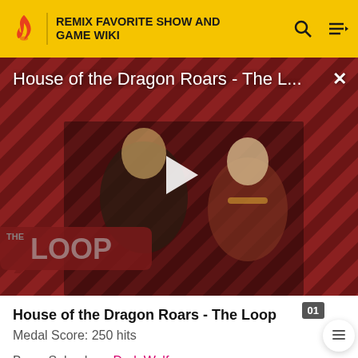REMIX FAVORITE SHOW AND GAME WIKI
[Figure (screenshot): Video thumbnail for 'House of the Dragon Roars - The Loop' showing two characters from the show on a red diagonal striped background with a play button overlay and 'THE LOOP' badge in the lower left]
House of the Dragon Roars - The Loop
Medal Score: 250 hits
Boss: Salvadora, Dark Wolf